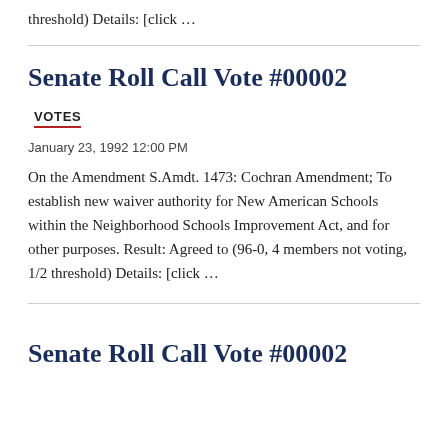threshold) Details: [click …
Senate Roll Call Vote #00002
VOTES
January 23, 1992 12:00 PM
On the Amendment S.Amdt. 1473: Cochran Amendment; To establish new waiver authority for New American Schools within the Neighborhood Schools Improvement Act, and for other purposes. Result: Agreed to (96-0, 4 members not voting, 1/2 threshold) Details: [click …
Senate Roll Call Vote #00002